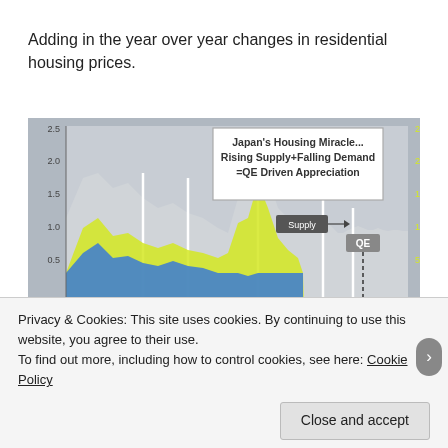Adding in the year over year changes in residential housing prices.
[Figure (area-chart): Area/bar chart showing supply (gray), yellow and blue series from 1971 to 2021, with annotations for Supply and QE markers. Title: Japan's Housing Miracle... Rising Supply+Falling Demand =QE Driven Appreciation.]
Privacy & Cookies: This site uses cookies. By continuing to use this website, you agree to their use.
To find out more, including how to control cookies, see here: Cookie Policy
Close and accept